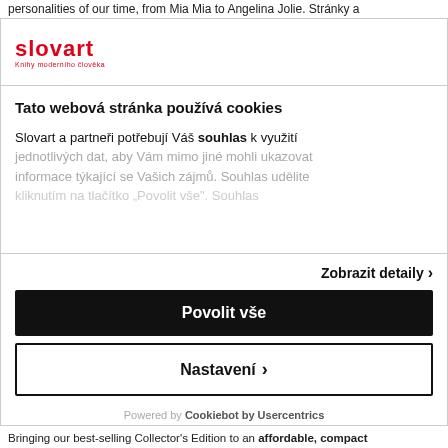personalities of our time, from Mia Mia to Angelina Jolie. Stránky a
[Figure (logo): Slovart logo — red text 'slovart' with subtitle 'Knihy moderního člověka']
Tato webová stránka používá cookies
Slovart a partneři potřebují Váš souhlas k využití jednotlivých dat, aby Vám mimo jiné mohli ukazovat informace týkající se Vašich zájmů. Souhlas udělite
Zobrazit detaily >
Povolit vše
Nastavení >
Powered by Cookiebot by Usercentrics
Bringing our best-selling Collector's Edition to an affordable, compact